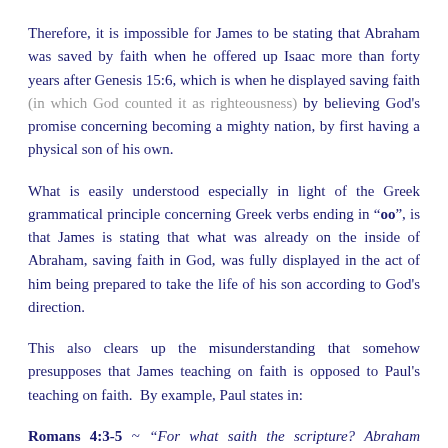Therefore, it is impossible for James to be stating that Abraham was saved by faith when he offered up Isaac more than forty years after Genesis 15:6, which is when he displayed saving faith (in which God counted it as righteousness) by believing God's promise concerning becoming a mighty nation, by first having a physical son of his own.
What is easily understood especially in light of the Greek grammatical principle concerning Greek verbs ending in "oo", is that James is stating that what was already on the inside of Abraham, saving faith in God, was fully displayed in the act of him being prepared to take the life of his son according to God's direction.
This also clears up the misunderstanding that somehow presupposes that James teaching on faith is opposed to Paul's teaching on faith. By example, Paul states in:
Romans 4:3-5 ~ "For what saith the scripture? Abraham believed God, and it was counted unto him for righteousness. Now to him that worketh is the reward not reckoned of grace, but of debt. But to him that worketh not, but